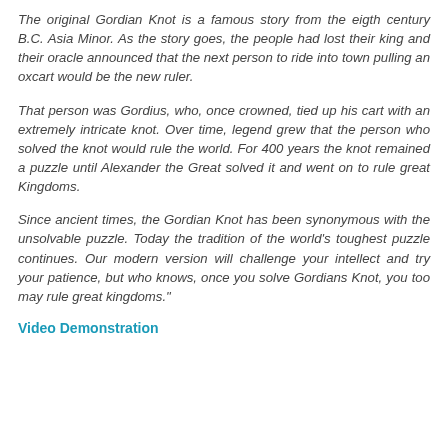The original Gordian Knot is a famous story from the eigth century B.C. Asia Minor. As the story goes, the people had lost their king and their oracle announced that the next person to ride into town pulling an oxcart would be the new ruler.
That person was Gordius, who, once crowned, tied up his cart with an extremely intricate knot. Over time, legend grew that the person who solved the knot would rule the world. For 400 years the knot remained a puzzle until Alexander the Great solved it and went on to rule great Kingdoms.
Since ancient times, the Gordian Knot has been synonymous with the unsolvable puzzle. Today the tradition of the world's toughest puzzle continues. Our modern version will challenge your intellect and try your patience, but who knows, once you solve Gordians Knot, you too may rule great kingdoms."
Video Demonstration